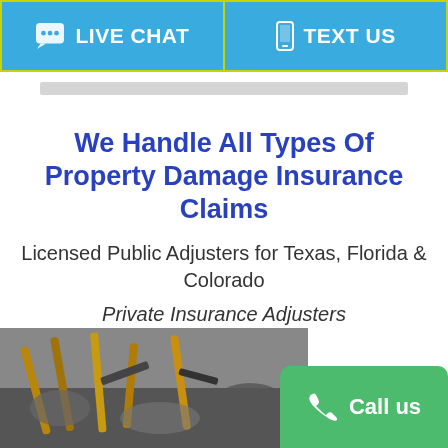LIVE CHAT   TEXT US
We Handle All Types Of Property Damage Insurance Claims
Licensed Public Adjusters for Texas, Florida & Colorado
Private Insurance Adjusters
[Figure (photo): Damaged roof with broken wooden structure and debris, property damage insurance claim context]
Call us